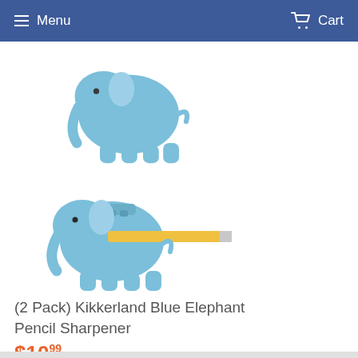Menu   Cart
[Figure (photo): Two blue elephant-shaped pencil sharpeners; the lower one has a yellow pencil with red eraser inserted through it sideways.]
(2 Pack) Kikkerland Blue Elephant Pencil Sharpener
$10.99